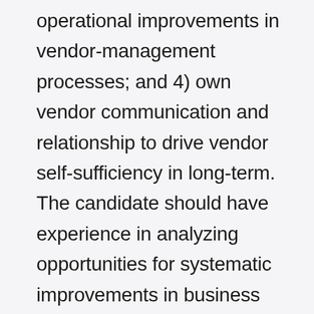operational improvements in vendor-management processes; and 4) own vendor communication and relationship to drive vendor self-sufficiency in long-term. The candidate should have experience in analyzing opportunities for systematic improvements in business management functions and building strong processes and SOPs to drive process-improvements. He/She should be comfortable managing multiple responsibilities within a fast-paced environment and preferably